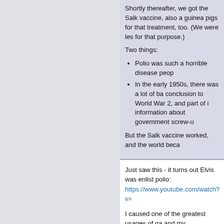Shortly thereafter, we got the Salk vaccine, also a guinea pigs for that treatment, too. (We were les for that purpose.)
Two things:
Polio was such a horrible disease peop
In the early 1950s, there was a lot of ba conclusion to World War 2, and part of i information about government screw-u
But the Salk vaccine worked, and the world beca
Just saw this - it turns out Elvis was enlist polio:  https://www.youtube.com/watch?v=
I caused one of the greatest usages of ga and my parishioners let me know how mu lot of side stories, but the boiled down ver as was my custom, received the Lord's S days it was common cup only, so around service on my yellowish complexion. I eve received the gamma globulin as a preven them were infected, and life went on.  But shot.